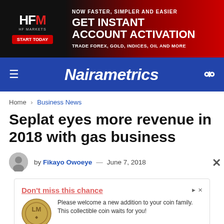[Figure (illustration): HFM HF Markets advertisement banner: black background on left with HFM logo and START TODAY button, red gradient on right with text NOW FASTER, SIMPLER AND EASIER / GET INSTANT ACCOUNT ACTIVATION / TRADE FOREX, GOLD, INDICES, OIL AND MORE]
Nairametrics
Home > Business News
Seplat eyes more revenue in 2018 with gas business
by Fikayo Owoeye — June 7, 2018
[Figure (illustration): Advertisement: Don't miss this chance. Please welcome a new addition to your coin family. This collectible coin waits for you! Lithuanian Mint. Shop Now button.]